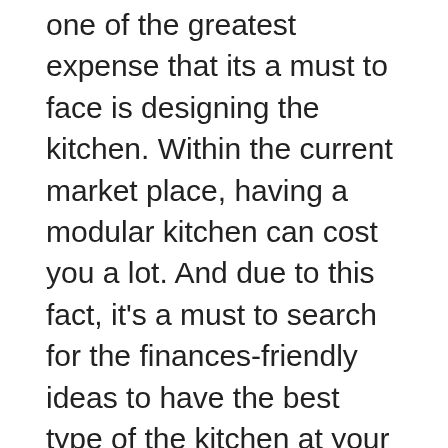one of the greatest expense that its a must to face is designing the kitchen. Within the current market place, having a modular kitchen can cost you a lot. And due to this fact, it's a must to search for the finances-friendly ideas to have the best type of the kitchen at your house. Some good ideas will help you to design one thing in an inexpensive, straightforward and aesthetical way. Let us see them one by one.
That is the place the interior designers come to play. The interior designers have the imaginative and prescient to provide the limited space in our houses, a 'wow' factor and have the technical expertise